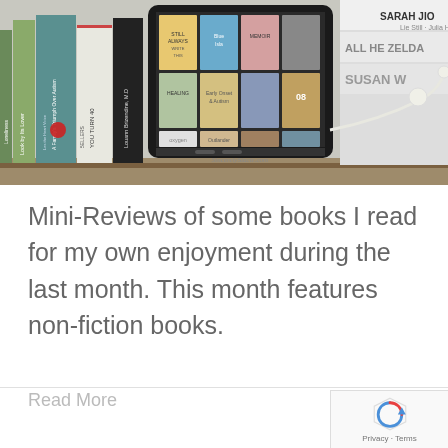[Figure (photo): Photo of a bookshelf with various book spines visible on the left and a tablet/e-reader displaying book covers in the center, with white earbuds resting against it. The website watermark 'SincelyStacie.com' is visible on the tablet.]
Mini-Reviews of some books I read for my own enjoyment during the last month. This month features non-fiction books.
Read More